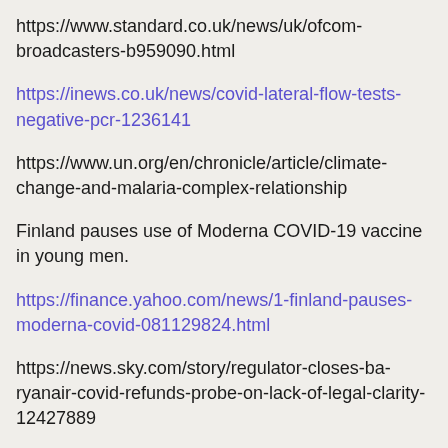https://www.standard.co.uk/news/uk/ofcom-broadcasters-b959090.html
https://inews.co.uk/news/covid-lateral-flow-tests-negative-pcr-1236141
https://www.un.org/en/chronicle/article/climate-change-and-malaria-complex-relationship
Finland pauses use of Moderna COVID-19 vaccine in young men.
https://finance.yahoo.com/news/1-finland-pauses-moderna-covid-081129824.html
https://news.sky.com/story/regulator-closes-ba-ryanair-covid-refunds-probe-on-lack-of-legal-clarity-12427889
https://www.mirror.co.uk/news/uk-news/60000-die-flu-due-low-25165173
https://www.newstalkzb.co.nz/news/covid-19/covid-19-delta-outbreak-if-cases-continue-to-rise-pandemic-could-be-as-